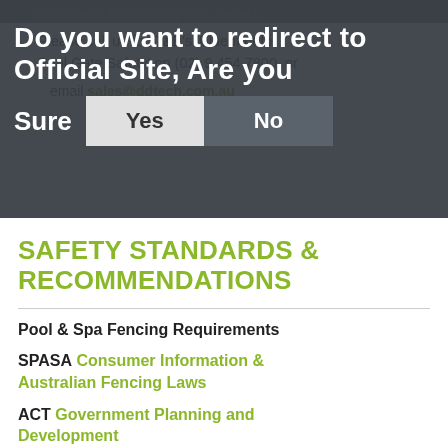[Figure (screenshot): Browser redirect dialog overlay with dark background. Text reads: 'Do you want to redirect to Official Site, Are you Sure' with 'Yes' and 'No' buttons. Behind the overlay, partially visible text references D&B's Blueprint for Pool Gate Safety, phone number, and email sales@ddtech.com.au]
SAFETY STANDARDS & RECOMMENDATIONS
Pool & Spa Fencing Requirements
SPASA Consumer Information & Australian Fencing Laws
ACT Government Planning and Development
NSW Department of Fair Trade